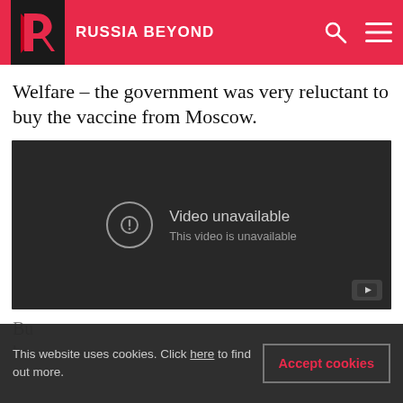RUSSIA BEYOND
Welfare - the government was very reluctant to buy the vaccine from Moscow.
[Figure (screenshot): Embedded YouTube video player showing 'Video unavailable – This video is unavailable' message on dark background with YouTube logo icon.]
This website uses cookies. Click here to find out more.